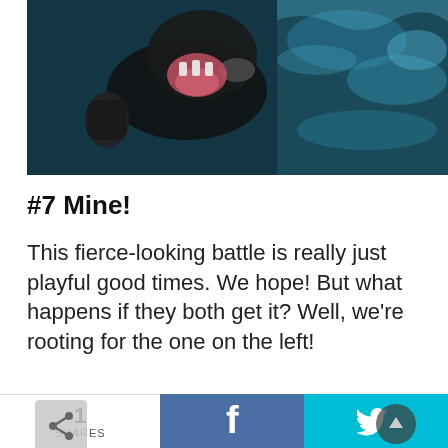[Figure (photo): Underwater photograph of a dog swimming, mouth open, paw outstretched, against a dark teal pool background]
#7 Mine!
This fierce-looking battle is really just playful good times. We hope! But what happens if they both get it? Well, we're rooting for the one on the left!
[Figure (photo): Partial underwater photo showing splashing water and golden/dark tones, partially visible at bottom of page]
1 SHARES  f  (Twitter bird icon)